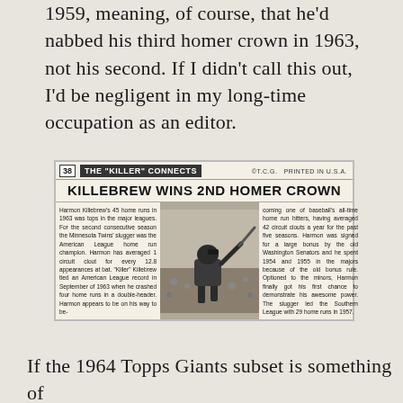1959, meaning, of course, that he'd nabbed his third homer crown in 1963, not his second. If I didn't call this out, I'd be negligent in my long-time occupation as an editor.
[Figure (photo): Scan of a 1964 Topps Giants baseball card #38 titled 'THE "KILLER" CONNECTS' with headline 'KILLEBREW WINS 2ND HOMER CROWN'. Contains a black-and-white photo of Harmon Killebrew batting. Left and right columns contain biographical text about Killebrew's home run accomplishments.]
If the 1964 Topps Giants subset is something of